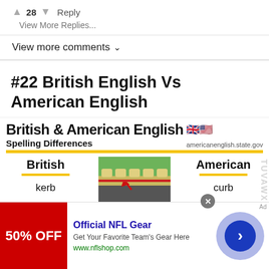↑ 28 ↓ Reply
View More Replies...
View more comments ∨
#22 British English Vs American English
[Figure (infographic): British & American English Spelling Differences infographic from americanenglish.state.gov showing 'British: kerb' vs 'American: curb' with an illustration of a curb/kerb in the center. Yellow horizontal bar divides header from content. Sideways text on right reads 'TUVAWAYZ'. Bottom shows a partial next entry.]
[Figure (other): Advertisement banner for Official NFL Gear. Red image on left showing '50% OFF'. Text: 'Official NFL Gear', 'Get Your Favorite Team's Gear Here', 'www.nflshop.com'. Right side shows a blue circle arrow button on light purple circle background. Close X button at top right of ad.]